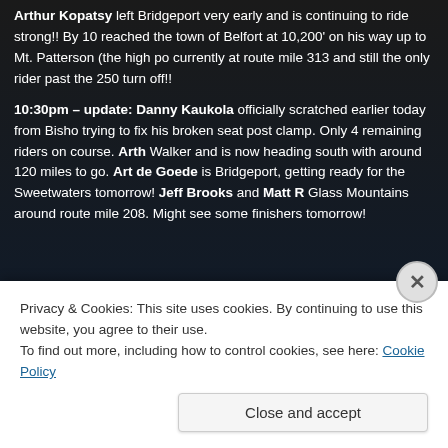Arthur Kopatsy left Bridgeport very early and is continuing to ride strong!! By 10 reached the town of Belfort at 10,200' on his way up to Mt. Patterson (the high po currently at route mile 313 and still the only rider past the 250 turn off!!
10:30pm – update: Danny Kaukola officially scratched earlier today from Bisho trying to fix his broken seat post clamp. Only 4 remaining riders on course. Arth Walker and is now heading south with around 120 miles to go. Art de Goede is Bridgeport, getting ready for the Sweetwaters tomorrow! Jeff Brooks and Matt R Glass Mountains around route mile 208. Might see some finishers tomorrow!
[Figure (photo): Dark blue gradient background image area, possibly a night sky or landscape photo]
Privacy & Cookies: This site uses cookies. By continuing to use this website, you agree to their use.
To find out more, including how to control cookies, see here: Cookie Policy
Close and accept